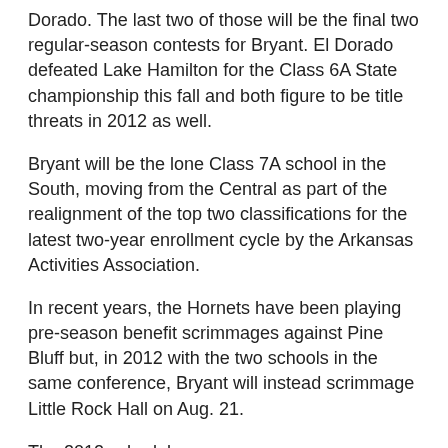Dorado. The last two of those will be the final two regular-season contests for Bryant. El Dorado defeated Lake Hamilton for the Class 6A State championship this fall and both figure to be title threats in 2012 as well.
Bryant will be the lone Class 7A school in the South, moving from the Central as part of the realignment of the top two classifications for the latest two-year enrollment cycle by the Arkansas Activities Association.
In recent years, the Hornets have been playing pre-season benefit scrimmages against Pine Bluff but, in 2012 with the two schools in the same conference, Bryant will instead scrimmage Little Rock Hall on Aug. 21.
The 2012 schedule:
2012 BRYANT HORNET FOOTBALL SCHEDULE-1.doc
(29.00 kb)